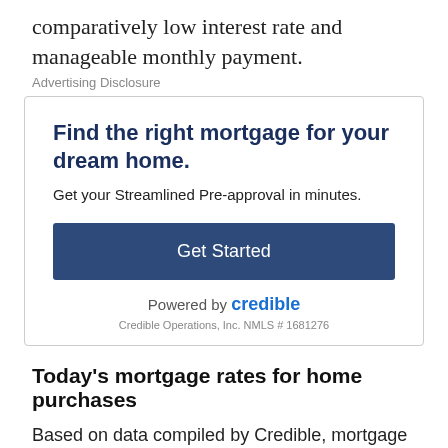comparatively low interest rate and manageable monthly payment.
Advertising Disclosure
[Figure (infographic): Advertisement box from Credible: 'Find the right mortgage for your dream home. Get your Streamlined Pre-approval in minutes.' with a 'Get Started' button, 'Powered by credible' and 'Credible Operations, Inc. NMLS # 1681276']
Today's mortgage rates for home purchases
Based on data compiled by Credible, mortgage rates for home purchases have fallen for three key terms and remained unchanged for one other term since